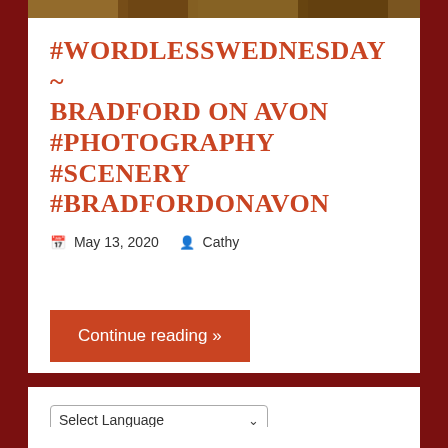[Figure (photo): Partial view of a landscape/scenery photo at the top of the page, showing warm brown and golden tones]
#WORDLESSWEDNESDAY ~ BRADFORD ON AVON #PHOTOGRAPHY #SCENERY #BRADFORDONAVON
May 13, 2020   Cathy
Continue reading »
Select Language
Powered by Google Translate